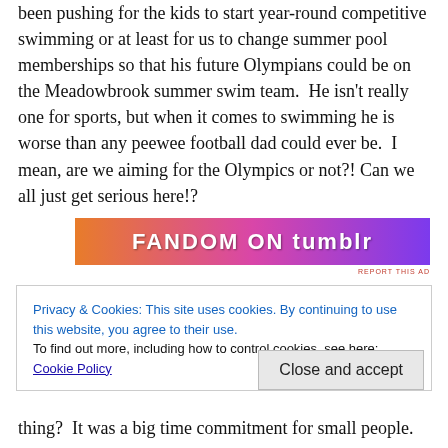been pushing for the kids to start year-round competitive swimming or at least for us to change summer pool memberships so that his future Olympians could be on the Meadowbrook summer swim team.  He isn't really one for sports, but when it comes to swimming he is worse than any peewee football dad could ever be.  I mean, are we aiming for the Olympics or not?! Can we all just get serious here!?
[Figure (other): Advertisement banner with colorful gradient background (orange to purple) showing 'FANDOM ON tumblr' text in bold white letters with decorative elements]
Privacy & Cookies: This site uses cookies. By continuing to use this website, you agree to their use.
To find out more, including how to control cookies, see here: Cookie Policy
thing?  It was a big time commitment for small people.